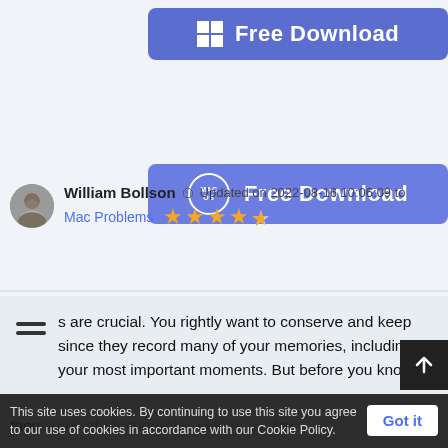[Figure (other): Blue button with Windows logo icon and text 'Free Download']
[Figure (other): Blue button with macOS badge icon and text 'Free Download']
William Bollson  Updated on 2022-08-16 10:06:09 to Mac Problems  ★★★★½
s are crucial. You rightly want to conserve and keep since they record many of your memories, including your most important moments. But before you know
thousands of photographs, videos, and w
This site uses cookies. By continuing to use this site you agree to our use of cookies in accordance with our Cookie Policy.  Got it